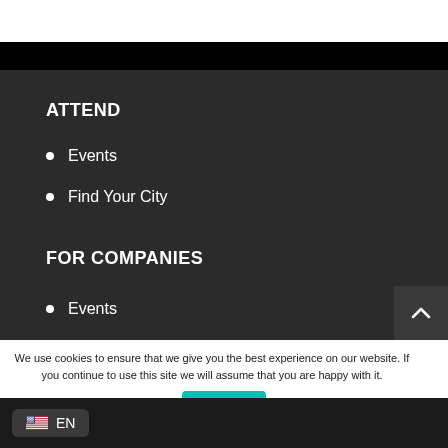ATTEND
Events
Find Your City
FOR COMPANIES
Events
We use cookies to ensure that we give you the best experience on our website. If you continue to use this site we will assume that you are happy with it.
Ok
EN